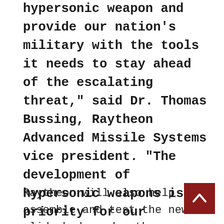...industry partners to quickly field the hypersonic weapon and provide our nation's military with the tools it needs to stay ahead of the escalating threat," said Dr. Thomas Bussing, Raytheon Advanced Missile Systems vice president. "The development of hypersonic weapons is a priority for our country, and we are aggressively working to produce offensive and defensive solutions."
Raytheon will also help assemble and test the new glide body under the Dynetics Corporation contracts.
The Army Long Range Hypersonic Weapon (LRHW) will introduce a new class of ultrafast, maneuverable, long-range missiles that will launch from mobile...